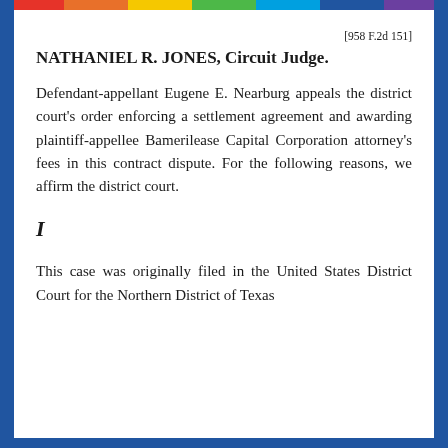[958 F.2d 151]
NATHANIEL R. JONES, Circuit Judge.
Defendant-appellant Eugene E. Nearburg appeals the district court's order enforcing a settlement agreement and awarding plaintiff-appellee Bamerilease Capital Corporation attorney's fees in this contract dispute. For the following reasons, we affirm the district court.
I
This case was originally filed in the United States District Court for the Northern District of Texas